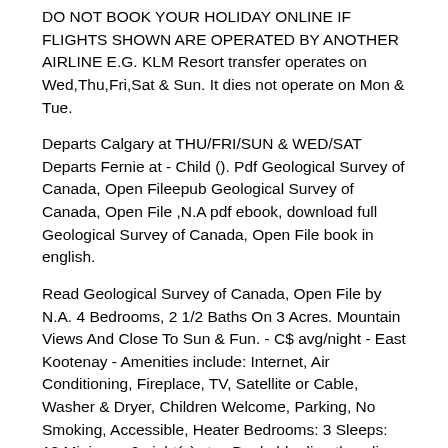DO NOT BOOK YOUR HOLIDAY ONLINE IF FLIGHTS SHOWN ARE OPERATED BY ANOTHER AIRLINE E.G. KLM Resort transfer operates on Wed,Thu,Fri,Sat & Sun. It dies not operate on Mon & Tue.
Departs Calgary at THU/FRI/SUN & WED/SAT Departs Fernie at - Child (). Pdf Geological Survey of Canada, Open Fileepub Geological Survey of Canada, Open File ,N.A pdf ebook, download full Geological Survey of Canada, Open File book in english.
Read Geological Survey of Canada, Open File by N.A. 4 Bedrooms, 2 1/2 Baths On 3 Acres. Mountain Views And Close To Sun & Fun. - C$ avg/night - East Kootenay - Amenities include: Internet, Air Conditioning, Fireplace, TV, Satellite or Cable, Washer & Dryer, Children Welcome, Parking, No Smoking, Accessible, Heater Bedrooms: 3 Sleeps: 12 Minimum 2 night(s) stay Bookable directly online - Book vacation rental with Vrbo.
Fernie is a town of 5, people () in British Columbia that is fully encircled by the Rocky Mountains. It